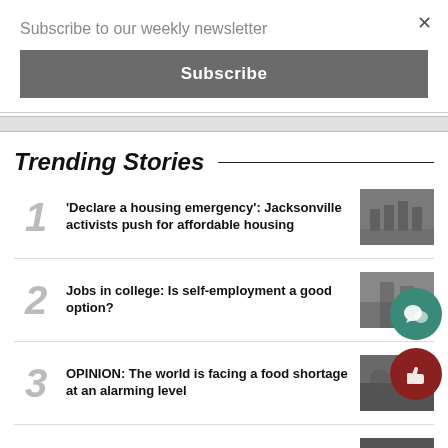Subscribe to our weekly newsletter
Subscribe
Trending Stories
1  'Declare a housing emergency': Jacksonville activists push for affordable housing
2  Jobs in college: Is self-employment a good option?
3  OPINION: The world is facing a food shortage at an alarming level
4  Deadliest animals in Florida